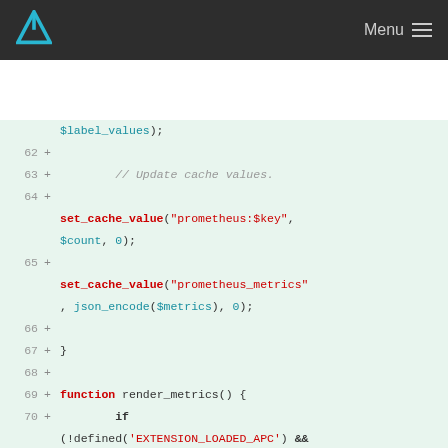Menu
[Figure (screenshot): Code diff view showing PHP code with line numbers 62-71, additions marked with '+', on a light green background. Code shows set_cache_value calls, function render_metrics() definition, and if statement checking EXTENSION_LOADED_APC and EXTENSION_LOADED_MEMCACHE constants.]